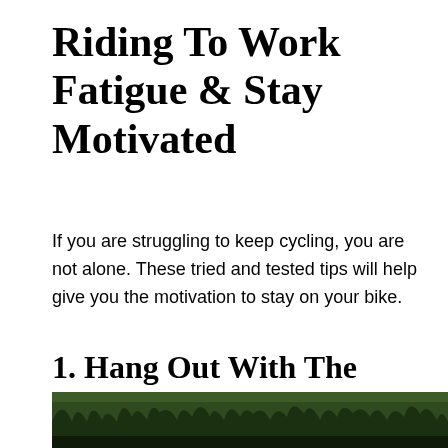Riding To Work Fatigue & Stay Motivated
If you are struggling to keep cycling, you are not alone. These tried and tested tips will help give you the motivation to stay on your bike.
1. Hang Out With The Right People
[Figure (photo): Outdoor photo showing trees or forest, partially visible at bottom of page]